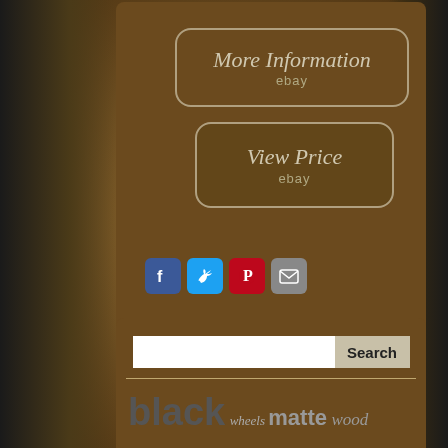[Figure (screenshot): Brown/tan themed webpage with two eBay buttons (More Information, View Price), social share icons (Facebook, Twitter, Pinterest, Email), a search bar, and a tag cloud with jewelry/product related keywords: black, wheels, matte, wood, bridal, white, iron, piece, band, gold, engagement]
More Information
ebay
View Price
ebay
Search
black   wheels   matte   wood
bridal   white   iron   piece   band
gold   engagement